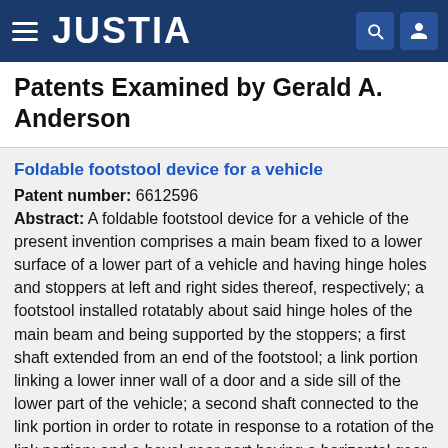JUSTIA
Patents Examined by Gerald A. Anderson
Foldable footstool device for a vehicle
Patent number: 6612596
Abstract: A foldable footstool device for a vehicle of the present invention comprises a main beam fixed to a lower surface of a lower part of a vehicle and having hinge holes and stoppers at left and right sides thereof, respectively; a footstool installed rotatably about said hinge holes of the main beam and being supported by the stoppers; a first shaft extended from an end of the footstool; a link portion linking a lower inner wall of a door and a side sill of the lower part of the vehicle; a second shaft connected to the link portion in order to rotate in response to a rotation of the link portion; and a bevel gear part having a horizontal gear connected to